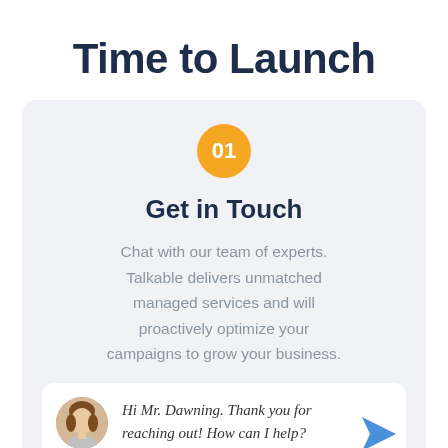Time to Launch
[Figure (infographic): Orange circle badge with number '01']
Get in Touch
Chat with our team of experts. Talkable delivers unmatched managed services and will proactively optimize your campaigns to grow your business.
[Figure (illustration): Chat bubble section with avatar photo of a woman and italic handwritten-style text: 'Hi Mr. Dawning. Thank you for reaching out! How can I help?' and a blue send arrow icon]